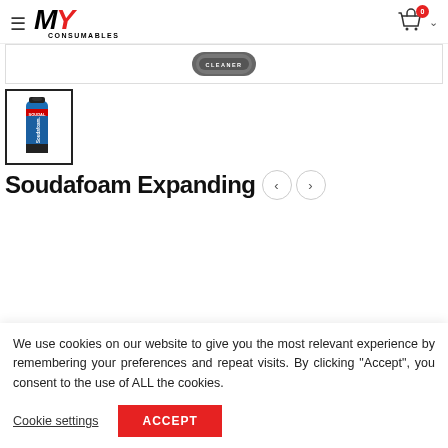[Figure (logo): MY Consumables logo with red Y and black M, italic bold, with CONSUMABLES text below]
[Figure (photo): Cleaner product cap shown at top of product image strip]
[Figure (photo): Soudal Soudafoam expanding foam can thumbnail with black border]
Soudafoam Expanding
We use cookies on our website to give you the most relevant experience by remembering your preferences and repeat visits. By clicking “Accept”, you consent to the use of ALL the cookies.
Cookie settings
ACCEPT